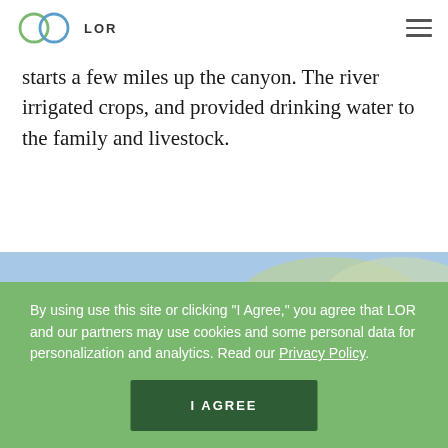LOR
starts a few miles up the canyon. The river irrigated crops, and provided drinking water to the family and livestock.
[Figure (photo): Close-up photo of what appears to be a bird (osprey or similar raptor) in a nest with blue sky and trees in the background, cropped to a horizontal strip.]
By using use this site or clicking "I Agree," you agree that LOR and our partners may use cookies and some personal data for personalization and analytics. Read our Privacy Policy.